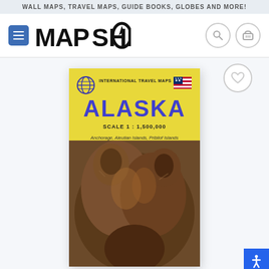WALL MAPS, TRAVEL MAPS, GUIDE BOOKS, GLOBES AND MORE!
[Figure (logo): MAPSHOP logo with navigation arrow icon, menu button, search icon, and cart icon]
[Figure (photo): Alaska travel map cover by International Travel Maps, Scale 1:1,500,000, featuring Anchorage, Aleutian Islands, Pribilof Islands. Yellow cover with large brown bear close-up photo.]